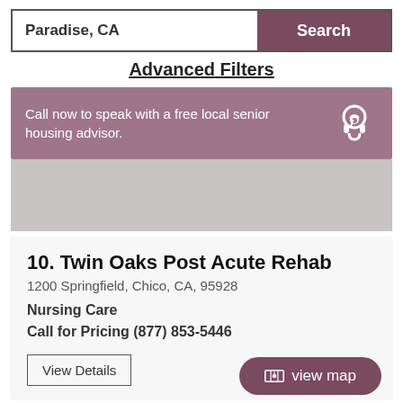Paradise, CA
Search
Advanced Filters
Call now to speak with a free local senior housing advisor.
10. Twin Oaks Post Acute Rehab
1200 Springfield, Chico, CA, 95928
Nursing Care
Call for Pricing (877) 853-5446
View Details
view map